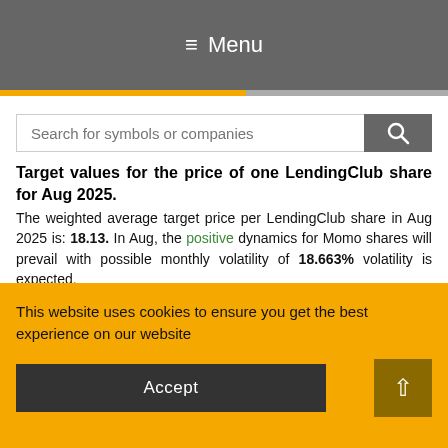≡ Menu
Search for symbols or companies
Target values for the price of one LendingClub share for Aug 2025.
The weighted average target price per LendingClub share in Aug 2025 is: 18.13. In Aug, the positive dynamics for Momo shares will prevail with possible monthly volatility of 18.663% volatility is expected. Pessimistic target level: 16.07 Optimistic target level: 19.75
This website uses cookies to ensure you get the best experience on our website